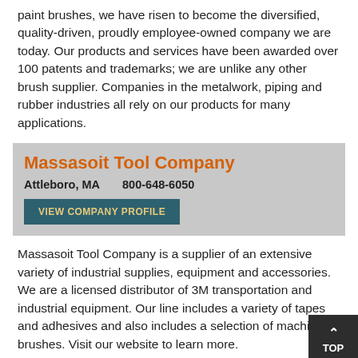paint brushes, we have risen to become the diversified, quality-driven, proudly employee-owned company we are today. Our products and services have been awarded over 100 patents and trademarks; we are unlike any other brush supplier. Companies in the metalwork, piping and rubber industries all rely on our products for many applications.
Massasoit Tool Company
Attleboro, MA    800-648-6050
VIEW COMPANY PROFILE
Massasoit Tool Company is a supplier of an extensive variety of industrial supplies, equipment and accessories. We are a licensed distributor of 3M transportation and industrial equipment. Our line includes a variety of tapes and adhesives and also includes a selection of machinery brushes. Visit our website to learn more.
Osborn International
Cleveland, OH    800-720-3358